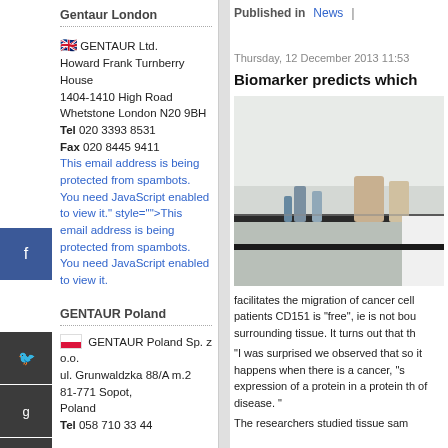Gentaur London
🇬🇧 GENTAUR Ltd. Howard Frank Turnberry House
1404-1410 High Road
Whetstone London N20 9BH
Tel 020 3393 8531
Fax 020 8445 9411
This email address is being protected from spambots. You need JavaScript enabled to view it." style="">This email address is being protected from spambots. You need JavaScript enabled to view it.
GENTAUR Poland
🇵🇱 GENTAUR Poland Sp. z o.o.
ul. Grunwaldzka 88/A m.2
81-771 Sopot, Poland
Tel  058 710 33 44
Published in  News
Thursday, 12 December 2013 11:53
Biomarker predicts which
[Figure (photo): Laboratory photo showing a scientist in white coat working at a lab bench with equipment and bottles]
facilitates the migration of cancer cell patients CD151 is "free", ie is not bou surrounding tissue. It turns out that th
"I was surprised we observed that so it happens when there is a cancer, "s expression of a protein in a protein th of disease. "
The researchers studied tissue sam